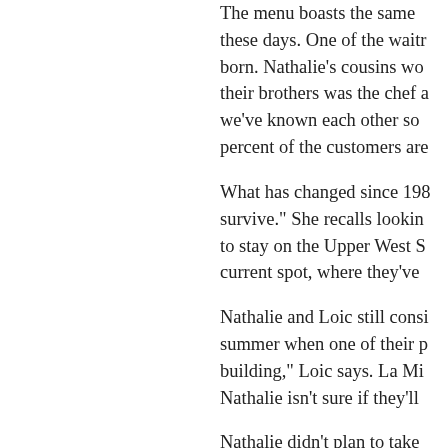The menu boasts the same these days. One of the waitr born. Nathalie's cousins wo their brothers was the chef a we've known each other so percent of the customers are
What has changed since 198 survive." She recalls lookin to stay on the Upper West S current spot, where they've
Nathalie and Loic still consi summer when one of their p building," Loic says. La Mi Nathalie isn't sure if they'll
Nathalie didn't plan to take her master's, but after takin maybe, to find out that this